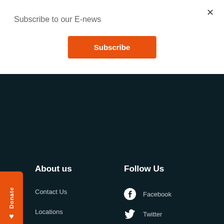Subscribe to our E-news
×
Subscribe
About us
Follow Us
Contact Us
Locations
Frequently Asked Questions
Merchandise FAQs
Privacy Policy
Our People
Facebook
Twitter
Instagram
YouTube